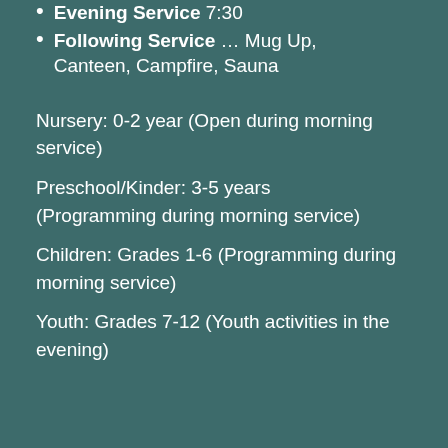Evening Service 7:30
Following Service … Mug Up, Canteen, Campfire, Sauna
Nursery: 0-2 year (Open during morning service)
Preschool/Kinder: 3-5 years (Programming during morning service)
Children: Grades 1-6 (Programming during morning service)
Youth: Grades 7-12 (Youth activities in the evening)